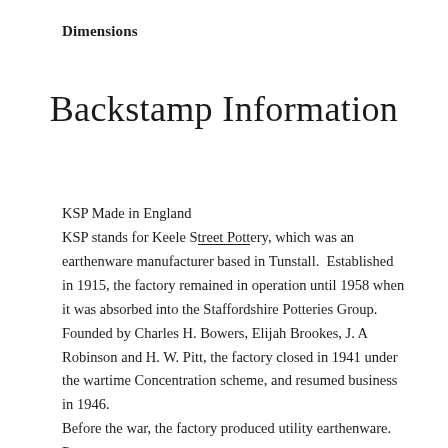Dimensions
Backstamp Information
KSP Made in England
KSP stands for Keele Street Pottery, which was an earthenware manufacturer based in Tunstall.  Established in 1915, the factory remained in operation until 1958 when it was absorbed into the Staffordshire Potteries Group.
Founded by Charles H. Bowers, Elijah Brookes, J. A Robinson and H. W. Pitt, the factory closed in 1941 under the wartime Concentration scheme, and resumed business in 1946.
Before the war, the factory produced utility earthenware. Post-